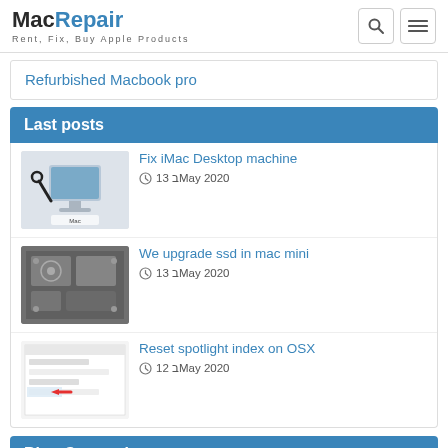MacRepair — Rent, Fix, Buy Apple Products
Refurbished Macbook pro
Last posts
Fix iMac Desktop machine — 13 בMay 2020
We upgrade ssd in mac mini — 13 בMay 2020
Reset spotlight index on OSX — 12 בMay 2020
Blog Categories